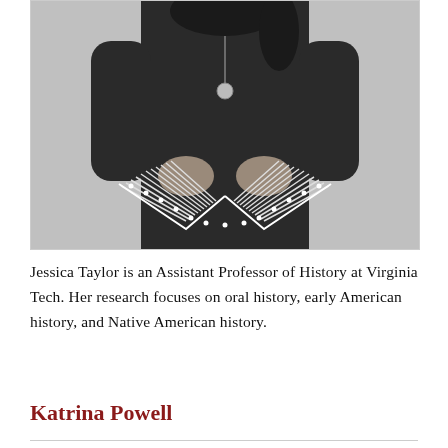[Figure (photo): Black and white photograph of Jessica Taylor, a woman with dark hair wearing a black top and a decorative Native American beaded belt/skirt, arms crossed, with a necklace.]
Jessica Taylor is an Assistant Professor of History at Virginia Tech. Her research focuses on oral history, early American history, and Native American history.
Katrina Powell